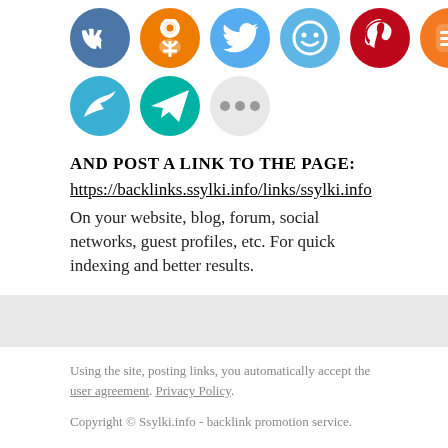[Figure (illustration): Two rows of social media sharing icon circles: VK (blue), Odnoklassniki (orange), Twitter (light blue), MyWorld (blue smiley), Pinterest (red), Blogger (orange) in row 1; Dovecot/bird (cyan-blue), Send (teal), More/ellipsis (gray) in row 2]
AND POST A LINK TO THE PAGE:
https://backlinks.ssylki.info/links/ssylki.info
On your website, blog, forum, social networks, guest profiles, etc. For quick indexing and better results.
Using the site, posting links, you automatically accept the user agreement. Privacy Policy.
Copyright © Ssylki.info - backlink promotion service.